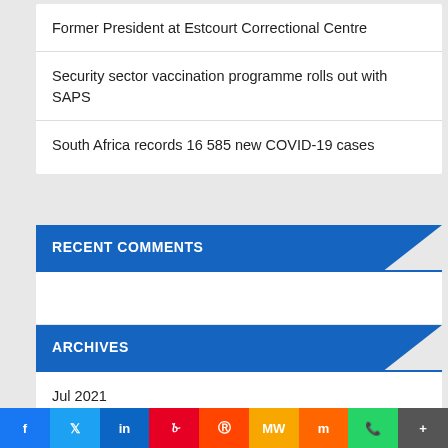Former President at Estcourt Correctional Centre
Security sector vaccination programme rolls out with SAPS
South Africa records 16 585 new COVID-19 cases
RECENT COMMENTS
ARCHIVES
Jul 2021